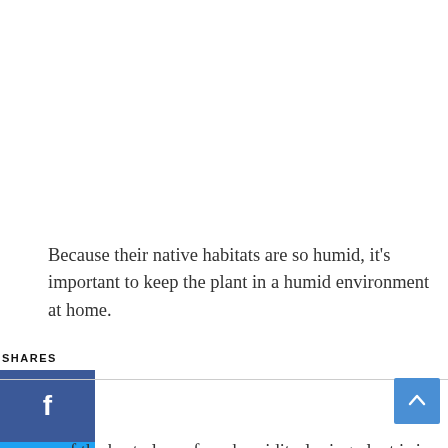Because their native habitats are so humid, it's important to keep the plant in a humid environment at home.
SHARES
[Figure (other): Social sharing sidebar with Facebook (blue), Twitter (light blue), and Pinterest (red) buttons with icons]
One of the best places for a humidity-loving plant is in the bathroom because it can soak up all the moisture from steamy, hot showers. But if you decide to grow it in other parts of the home, just make sure to spritz your houseplant weekly, or to keep it in a humidity tray. If you are really struggling with humidity, you may even consider using a humidifying machine.
[Figure (other): Scroll-to-top button, blue rectangle with upward chevron arrow]